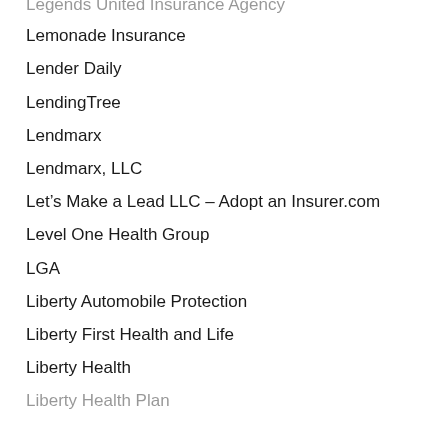Legends United Insurance Agency
Lemonade Insurance
Lender Daily
LendingTree
Lendmarx
Lendmarx, LLC
Let’s Make a Lead LLC – Adopt an Insurer.com
Level One Health Group
LGA
Liberty Automobile Protection
Liberty First Health and Life
Liberty Health
Liberty Health Plan